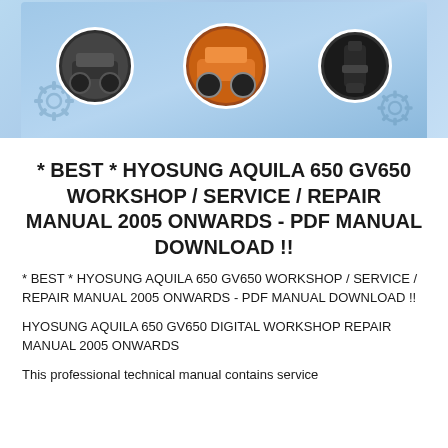[Figure (illustration): Banner image with light blue background showing three circular vignettes of off-road vehicles/motorcycles and a dark circle, with decorative gear/cog watermarks on the sides]
* BEST * HYOSUNG AQUILA 650 GV650 WORKSHOP / SERVICE / REPAIR MANUAL 2005 ONWARDS - PDF MANUAL DOWNLOAD !!
* BEST * HYOSUNG AQUILA 650 GV650 WORKSHOP / SERVICE / REPAIR MANUAL 2005 ONWARDS - PDF MANUAL DOWNLOAD !!
HYOSUNG AQUILA 650 GV650 DIGITAL WORKSHOP REPAIR MANUAL 2005 ONWARDS
This professional technical manual contains service